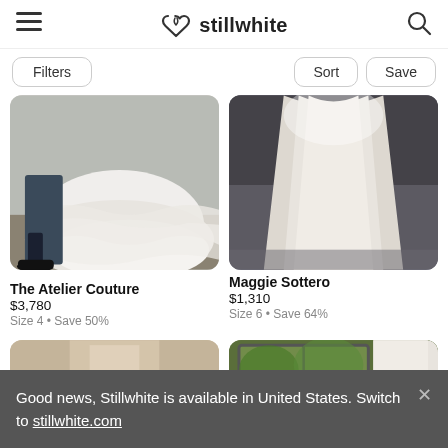stillwhite
[Figure (screenshot): Stillwhite marketplace header with hamburger menu icon, stillwhite logo with heart, and search icon]
Filters  Sort  Save
[Figure (photo): Wedding dress photo - The Atelier Couture, showing bottom of white ruffled gown with man's shoes]
The Atelier Couture
$3,780
Size 4 • Save 50%
[Figure (photo): Wedding dress photo - Maggie Sottero, showing white gown from behind]
Maggie Sottero
$1,310
Size 6 • Save 64%
[Figure (photo): Partial thumbnail of wedding dress, beige/nude tones]
[Figure (photo): Partial thumbnail of wedding dress against green window background]
Good news, Stillwhite is available in United States. Switch to stillwhite.com